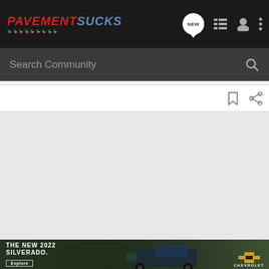[Figure (logo): PavementSucks logo with red PAVEMENT and blue SUCKS text, italic bold, with small duck icons below]
[Figure (screenshot): Navigation bar with NEW chat bubble, list icon, user icon, and three-dots menu icon on dark background]
Search Community
[Figure (screenshot): Toolbar with bookmark and share icons on light gray background]
[Figure (screenshot): Gray content area, mostly empty]
[Figure (infographic): Chevrolet advertisement banner: THE NEW 2022 SILVERADO. with Explore button, truck image, and Chevrolet bowtie logo]